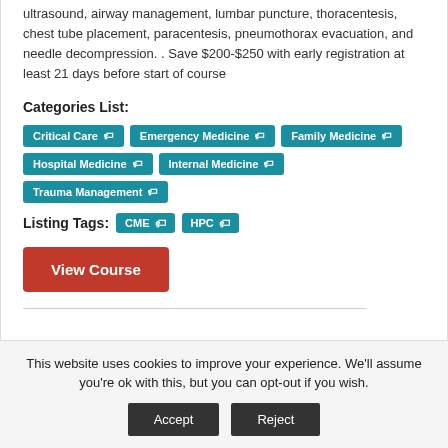ultrasound, airway management, lumbar puncture, thoracentesis, chest tube placement, paracentesis, pneumothorax evacuation, and needle decompression. . Save $200-$250 with early registration at least 21 days before start of course
Categories List:
Critical Care
Emergency Medicine
Family Medicine
Hospital Medicine
Internal Medicine
Trauma Management
Listing Tags: CME HPC
View Course
This website uses cookies to improve your experience. We'll assume you're ok with this, but you can opt-out if you wish.